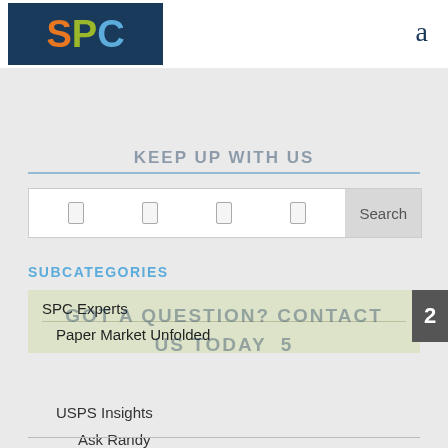[Figure (logo): SPC logo on dark blue background with orange S, green P, blue C]
a
KEEP UP WITH US
[Figure (screenshot): Search bar with icon placeholders and Search button]
SUBCATEGORIES
SPC Experts
Paper Market Unfolded
GOT A QUESTION? CONTACT US TODAY 5
USPS Insights
Ask Randy
Reach out